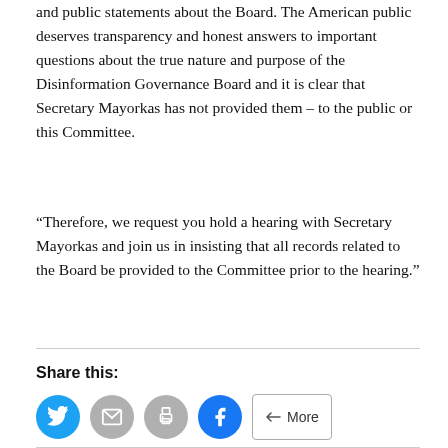and public statements about the Board. The American public deserves transparency and honest answers to important questions about the true nature and purpose of the Disinformation Governance Board and it is clear that Secretary Mayorkas has not provided them – to the public or this Committee.
“Therefore, we request you hold a hearing with Secretary Mayorkas and join us in insisting that all records related to the Board be provided to the Committee prior to the hearing.”
Share this: